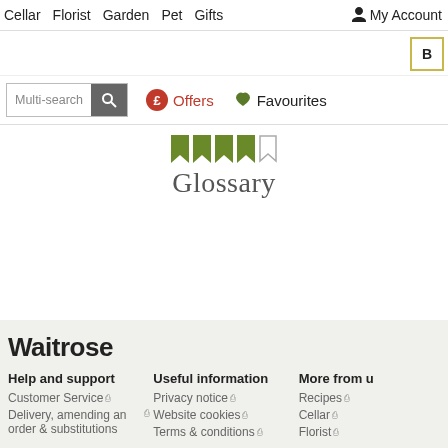Cellar  Florist  Garden  Pet  Gifts  My Account
[Figure (screenshot): Waitrose website navigation bar with search box, Offers button with pound icon, and Favourites with heart icon. Below are bookmark icons followed by 'Glossary' heading.]
Glossary
Waitrose
Help and support
Customer Service
Delivery, amending an order & substitutions
Useful information
Privacy notice
Website cookies
Terms & conditions
More from u...
Recipes
Cellar
Florist